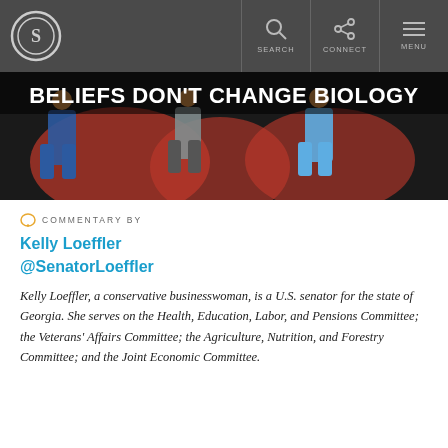SEARCH | CONNECT | MENU
[Figure (illustration): Illustrated image of runners on a track with bold text overlay 'BELIEFS DON'T CHANGE BIOLOGY']
COMMENTARY BY
Kelly Loeffler
@SenatorLoeffler
Kelly Loeffler, a conservative businesswoman, is a U.S. senator for the state of Georgia. She serves on the Health, Education, Labor, and Pensions Committee; the Veterans' Affairs Committee; the Agriculture, Nutrition, and Forestry Committee; and the Joint Economic Committee.